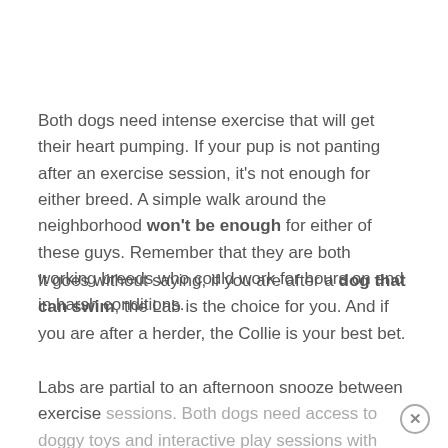Both dogs need intense exercise that will get their heart pumping. If your pup is not panting after an exercise session, it's not enough for either breed. A simple walk around the neighborhood won't be enough for either of these guys. Remember that they are both working breeds who could work for hours on end in harsh conditions.
It goes without saying, if you are after a dog that can swim, the Lab is the choice for you. And if you are after a herder, the Collie is your best bet.
Labs are partial to an afternoon snooze between exercise sessions. Both dogs need access to doggy toys and interactive play sessions with their family, the Border